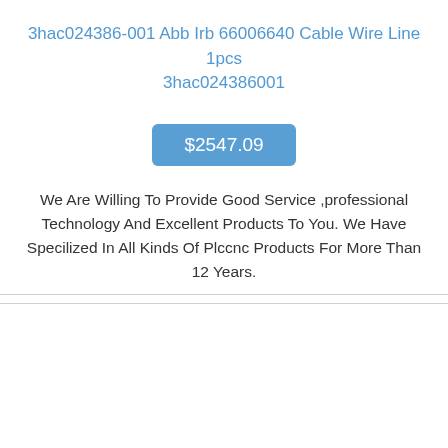3hac024386-001 Abb Irb 66006640 Cable Wire Line 1pcs 3hac024386001
$2547.09
We Are Willing To Provide Good Service ,professional Technology And Excellent Products To You. We Have Specilized In All Kinds Of Plccnc Products For More Than 12 Years.